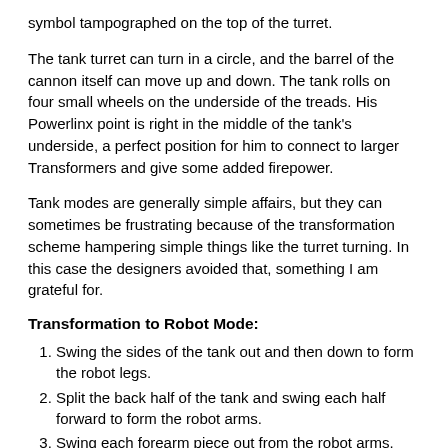symbol tampographed on the top of the turret.
The tank turret can turn in a circle, and the barrel of the cannon itself can move up and down. The tank rolls on four small wheels on the underside of the treads. His Powerlinx point is right in the middle of the tank's underside, a perfect position for him to connect to larger Transformers and give some added firepower.
Tank modes are generally simple affairs, but they can sometimes be frustrating because of the transformation scheme hampering simple things like the turret turning. In this case the designers avoided that, something I am grateful for.
Transformation to Robot Mode:
Swing the sides of the tank out and then down to form the robot legs.
Split the back half of the tank and swing each half forward to form the robot arms.
Swing each forearm piece out from the robot arms.
Swing down the middle panel in front of the tank turret.
Swing down the front end of the tank.
Swing the cannon back to reveal the robot head.
Robot Mode: